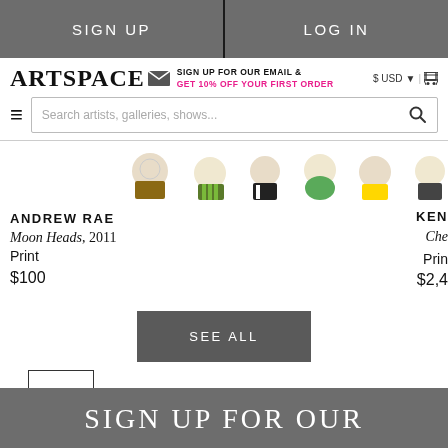SIGN UP | LOG IN
ARTSPACE | SIGN UP FOR OUR EMAIL & GET 10% OFF YOUR FIRST ORDER | $ USD | cart
Search artists, galleries, shows...
[Figure (illustration): Partial illustration of cartoon-style figures with round heads, in various colored outfits]
ANDREW RAE
Moon Heads, 2011
Print
$100
KEN
Che
Prin
$2,4
SEE ALL
TOP
SIGN UP FOR OUR